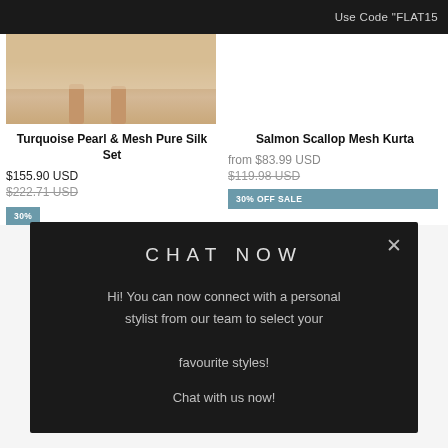Use Code "FLAT15
[Figure (photo): Product photo showing bottom of garment on model, warm beige background]
Turquoise Pearl & Mesh Pure Silk Set
$155.90 USD
$222.71 USD
30%
Salmon Scallop Mesh Kurta
from $83.99 USD
$119.98 USD
30% OFF SALE
CHAT NOW
Hi! You can now connect with a personal stylist from our team to select your

favourite styles!
Chat with us now!